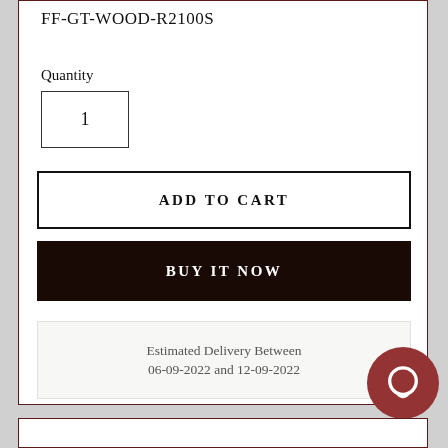FF-GT-WOOD-R2100S
Quantity
1
ADD TO CART
BUY IT NOW
Estimated Delivery Between
06-09-2022 and 12-09-2022